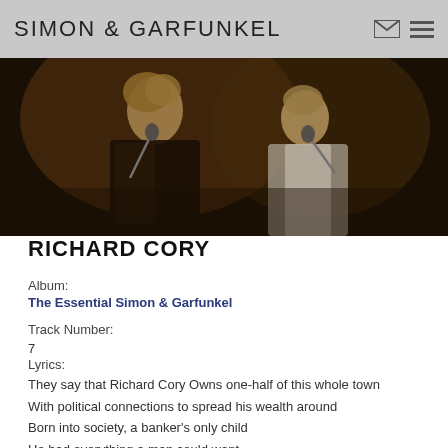SIMON & GARFUNKEL
[Figure (photo): Black and white concert photo of Simon and Garfunkel singing into microphones on stage]
RICHARD CORY
Album:
The Essential Simon & Garfunkel
Track Number:
7
Lyrics:
They say that Richard Cory Owns one-half of this whole town
With political connections to spread his wealth around
Born into society, a banker's only child
He had everything a man could want
Power, grace and style

But I work in his factory
And I curse the life I'm living